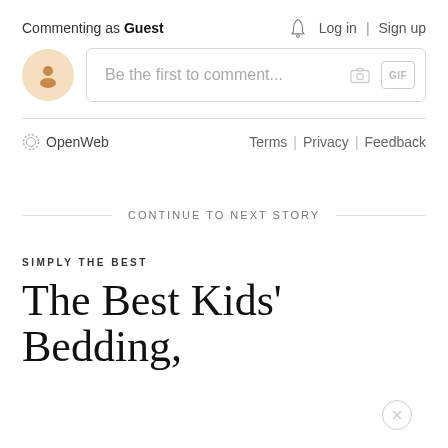Commenting as Guest
Log in | Sign up
Be the first to comment...
[Figure (logo): OpenWeb logo with gear-like circle icon]
Terms | Privacy | Feedback
CONTINUE TO NEXT STORY
SIMPLY THE BEST
The Best Kids' Bedding,